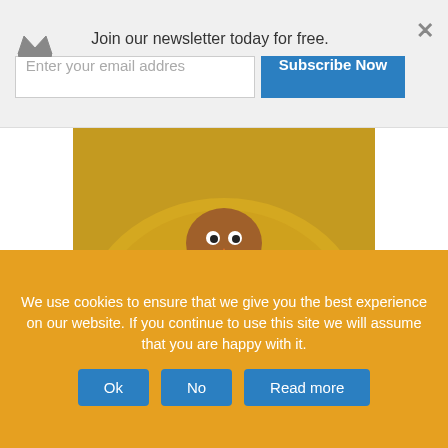[Figure (screenshot): Newsletter subscription banner with crown icon, email input field, Subscribe Now button, and close X button]
[Figure (photo): A hand towel folded into a turkey shape placed on a yellow decorative plate, with googly eyes and an orange beak]
[Figure (photo): Gingerbread men cookies on a red dotted background with a green cookie cutter shape]
We use cookies to ensure that we give you the best experience on our website. If you continue to use this site we will assume that you are happy with it.